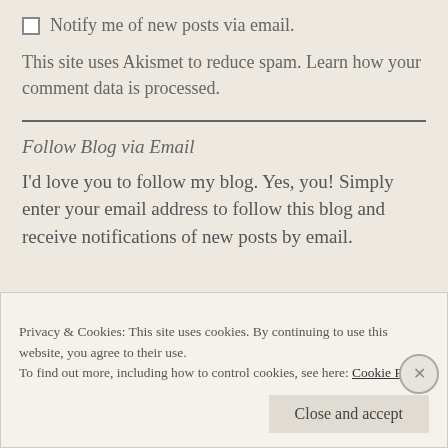Notify me of new posts via email.
This site uses Akismet to reduce spam. Learn how your comment data is processed.
Follow Blog via Email
I'd love you to follow my blog. Yes, you! Simply enter your email address to follow this blog and receive notifications of new posts by email.
Privacy & Cookies: This site uses cookies. By continuing to use this website, you agree to their use. To find out more, including how to control cookies, see here: Cookie Policy